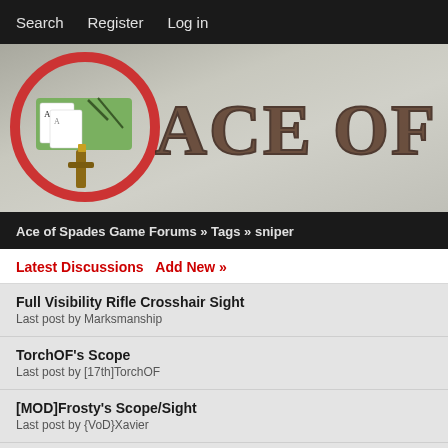Search   Register   Log in
[Figure (illustration): Ace of Spades game banner with logo (a green sign with playing cards in a red circle) and text 'ACE OF SP...' in western style lettering]
Ace of Spades Game Forums » Tags » sniper
Latest Discussions   Add New »
Full Visibility Rifle Crosshair Sight
Last post by Marksmanship
TorchOF's Scope
Last post by [17th]TorchOF
[MOD]Frosty's Scope/Sight
Last post by {VoD}Xavier
Official [MLG] Sniper Scope LuxeR